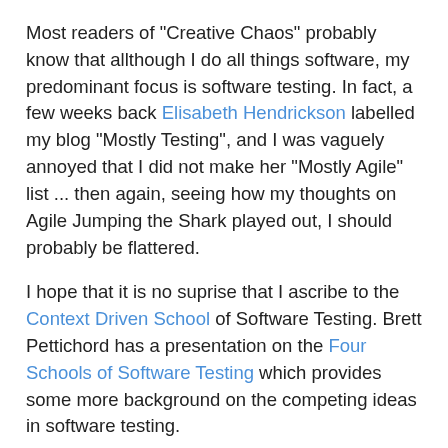Most readers of "Creative Chaos" probably know that allthough I do all things software, my predominant focus is software testing. In fact, a few weeks back Elisabeth Hendrickson labelled my blog "Mostly Testing", and I was vaguely annoyed that I did not make her "Mostly Agile" list ... then again, seeing how my thoughts on Agile Jumping the Shark played out, I should probably be flattered.
I hope that it is no suprise that I ascribe to the Context Driven School of Software Testing. Brett Pettichord has a presentation on the Four Schools of Software Testing which provides some more background on the competing ideas in software testing.
James Bach posted this yesterday to the context-driven yahoo discussion group; It matches my feelings relatively well, and I thought it was worth sharing:
I first attacked the CMM because they labeled my community "Level 1: Initial" and called it "heroic". The first label was clearly not descriptive of what we were doing at Borland, the